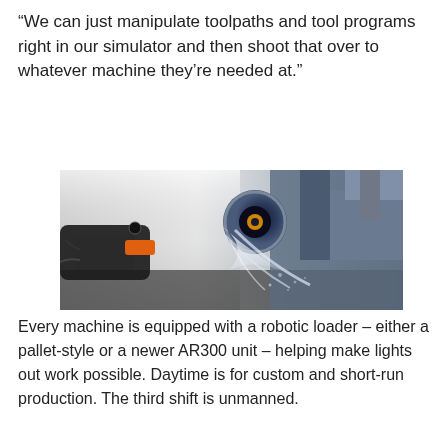“We can just manipulate toolpaths and tool programs right in our simulator and then shoot that over to whatever machine they’re needed at.”
[Figure (photo): Close-up photograph of a CNC machining operation with a robotic loader arm on the left and a machine spindle on the right, with coolant/chips spraying during cutting.]
Every machine is equipped with a robotic loader – either a pallet-style or a newer AR300 unit – helping make lights out work possible. Daytime is for custom and short-run production. The third shift is unmanned.